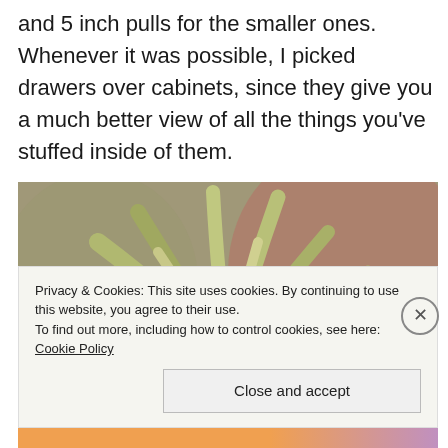and 5 inch pulls for the smaller ones. Whenever it was possible, I picked drawers over cabinets, since they give you a much better view of all the things you've stuffed inside of them.
[Figure (photo): Close-up photograph of an air plant (Tillandsia) with long silvery-green curved leaves spreading outward, blurred warm brown/rust background.]
Privacy & Cookies: This site uses cookies. By continuing to use this website, you agree to their use.
To find out more, including how to control cookies, see here: Cookie Policy
Close and accept